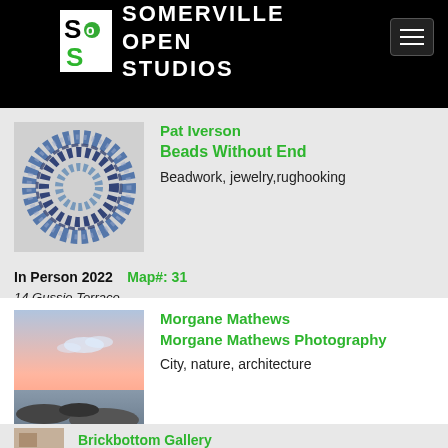Somerville Open Studios
Pat Iverson
Beads Without End
Beadwork, jewelry,rughooking
In Person 2022  Map#: 31
14 Gussie Terrace
Morgane Mathews
Morgane Mathews Photography
City, nature, architecture
In Person 2022  Map#: 40
Accessible (self reported)
Arts at the Armory
191 Highland Avenue
Brickbottom Gallery